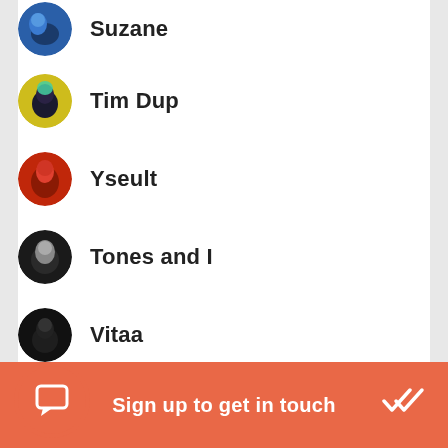Suzane
Tim Dup
Yseult
Tones and I
Vitaa
Slimane
Sign up to get in touch